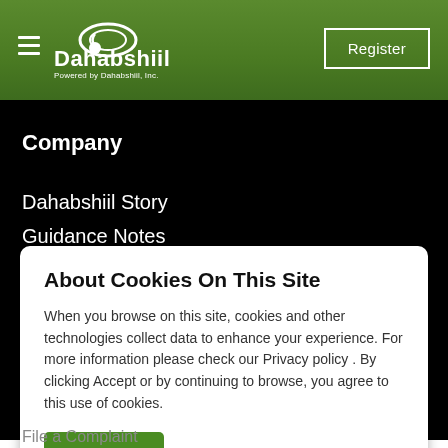Dahabshiil – Powered by Dahabshiil, Inc. | Register
Company
Dahabshiil Story
Guidance Notes
News & Blog
Careers
About Cookies On This Site
When you browse on this site, cookies and other technologies collect data to enhance your experience. For more information please check our Privacy policy . By clicking Accept or by continuing to browse, you agree to this use of cookies.
Accept
File a Complaint